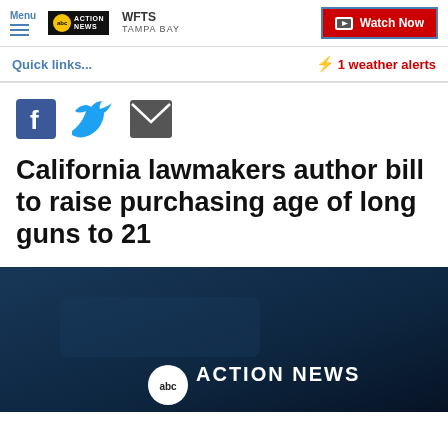Menu | ABC Action News WFTS Tampa Bay | Watch Now
Quick links...
⚡ 1 weather alerts
[Figure (illustration): Social share icons: Facebook, Twitter, Email]
California lawmakers author bill to raise purchasing age of long guns to 21
[Figure (photo): Dark blue-toned news video thumbnail showing ABC Action News logo overlay]